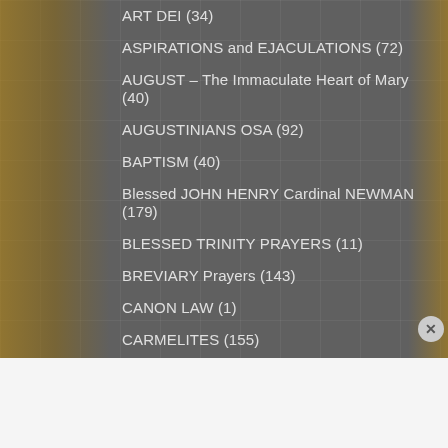ART DEI (34)
ASPIRATIONS and EJACULATIONS (72)
AUGUST – The Immaculate Heart of Mary (40)
AUGUSTINIANS OSA (92)
BAPTISM (40)
Blessed JOHN HENRY Cardinal NEWMAN (179)
BLESSED TRINITY PRAYERS (11)
BREVIARY Prayers (143)
CANON LAW (1)
CARMELITES (155)
CATECHESIS (47)
[Figure (infographic): Advertisement banner for Macy's: 'KISS BORING LIPS GOODBYE' with SHOP NOW button and Macy's star logo on red background]
Advertisements